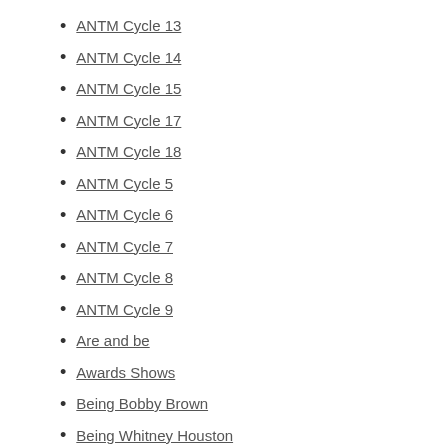ANTM Cycle 13
ANTM Cycle 14
ANTM Cycle 15
ANTM Cycle 17
ANTM Cycle 18
ANTM Cycle 5
ANTM Cycle 6
ANTM Cycle 7
ANTM Cycle 8
ANTM Cycle 9
Are and be
Awards Shows
Being Bobby Brown
Being Whitney Houston
Celine Dion
Chunk
Crap Mondays
Crazy Old Ladies